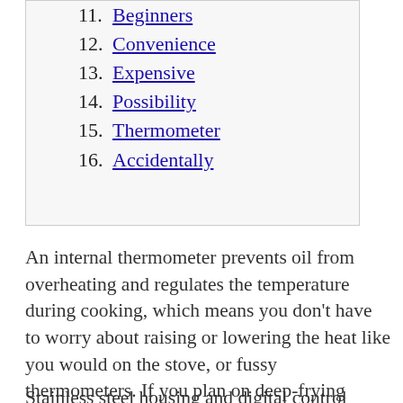11. Beginners
12. Convenience
13. Expensive
14. Possibility
15. Thermometer
16. Accidentally
An internal thermometer prevents oil from overheating and regulates the temperature during cooking, which means you don't have to worry about raising or lowering the heat like you would on the stove, or fussy thermometers. If you plan on deep-frying often, you might want to consider a deep fryer with a small footprint so you can keep it out on your counter without hogging up too much space.
Stainless steel housing and digital control panels look sleek on countertops. If you're deep-frying for